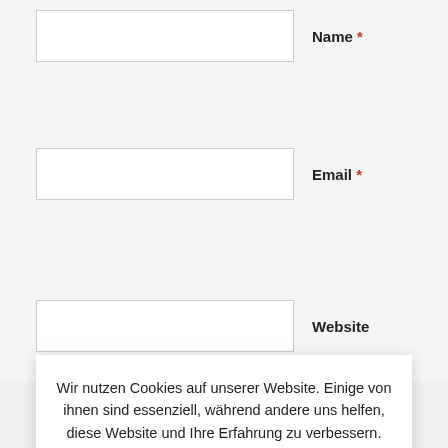Name *
Email *
Website
Wir nutzen Cookies auf unserer Website. Einige von ihnen sind essenziell, während andere uns helfen, diese Website und Ihre Erfahrung zu verbessern.
We use cookies on our website. Some of them are essential, while others help us improve this website and your experience.
OK
Settings